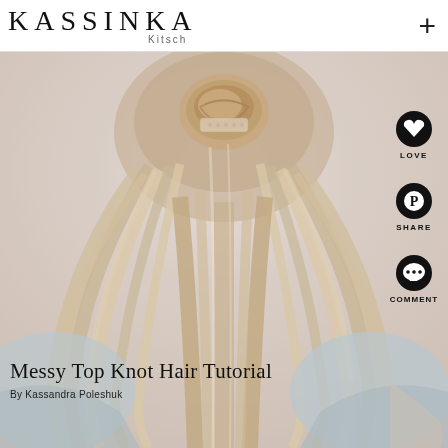KASSINKA Kitsch
[Figure (photo): Back view of a person with long blonde/rose-tinted hair with a messy top knot bun secured with a lace hair tie, wearing a light blue denim jacket]
Messy Top Knot Hair Tutorial
By Kassandra Poleshuk